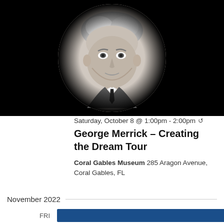[Figure (photo): Black and white oval/vignette portrait photo of a middle-aged man in a suit and tie, gray hair, against a dark background]
Saturday, October 8 @ 1:00pm - 2:00pm ↺
George Merrick – Creating the Dream Tour
Coral Gables Museum 285 Aragon Avenue, Coral Gables, FL
November 2022